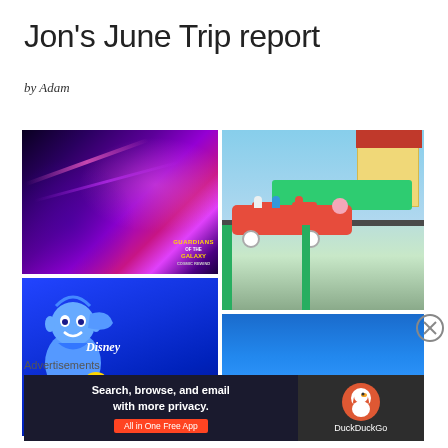Jon's June Trip report
by Adam
[Figure (photo): Guardians of the Galaxy: Cosmic Rewind attraction promotional image with characters flying in space with colorful light trails]
[Figure (photo): Disney Genie app logo with Genie character on blue background]
[Figure (photo): Peppa Pig roller coaster ride with people on red cars at theme park]
[Figure (photo): Blue image, partially visible at bottom right]
Advertisements
[Figure (screenshot): DuckDuckGo advertisement banner: Search, browse, and email with more privacy. All in One Free App]